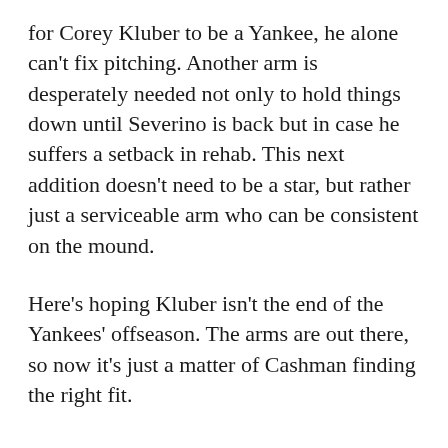for Corey Kluber to be a Yankee, he alone can't fix pitching. Another arm is desperately needed not only to hold things down until Severino is back but in case he suffers a setback in rehab. This next addition doesn't need to be a star, but rather just a serviceable arm who can be consistent on the mound.
Here's hoping Kluber isn't the end of the Yankees' offseason. The arms are out there, so now it's just a matter of Cashman finding the right fit.